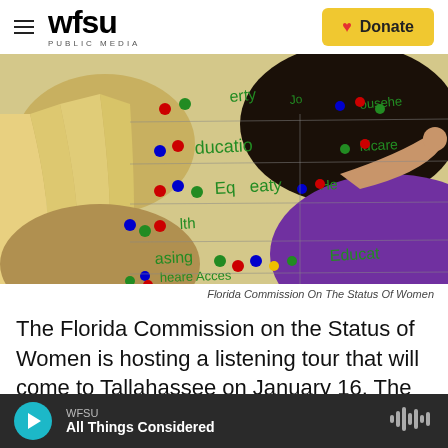[Figure (logo): WFSU Public Media logo with hamburger menu icon on the left and a yellow Donate button with red heart on the right]
[Figure (photo): Two women with their backs to camera placing colored dot stickers on a large whiteboard covered in handwritten words including 'poverty', 'education', 'equity', 'healthcare', 'housing', 'healthcare access'. One woman has blonde hair, the other dark hair and is wearing a purple shirt.]
Florida Commission On The Status Of Women
The Florida Commission on the Status of Women is hosting a listening tour that will come to Tallahassee on January 16. The top five issues trending statewide include: financial security,
WFSU All Things Considered